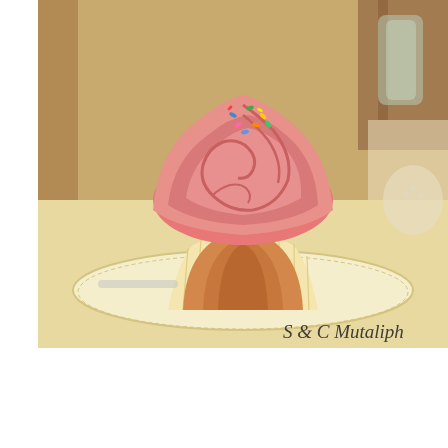[Figure (photo): Close-up photo of a large vanilla cupcake with swirled pink frosting topped with colorful sprinkles, sitting on a light yellow plate at a cafe table. Watermark text reads 'S & C Mutaliph' in italic font at the bottom right.]
[Figure (photo): Partial photo showing a person in a blue top handling a dark shiny bag on a table, with a bunch of bright pink carnation flowers and green leaves on the right side.]